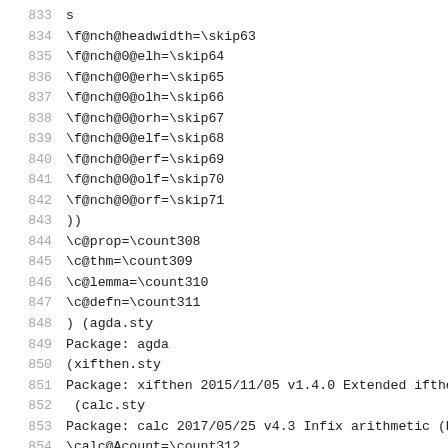833   s
834   \f@nch@headwidth=\skip63
835   \f@nch@0@elh=\skip64
836   \f@nch@0@erh=\skip65
837   \f@nch@0@olh=\skip66
838   \f@nch@0@orh=\skip67
839   \f@nch@0@elf=\skip68
840   \f@nch@0@erf=\skip69
841   \f@nch@0@olf=\skip70
842   \f@nch@0@orf=\skip71
843   ))
844   \c@prop=\count308
845   \c@thm=\count309
846   \c@lemma=\count310
847   \c@defn=\count311
848   ) (agda.sty
849   Package: agda
850   (xifthen.sty
851   Package: xifthen 2015/11/05 v1.4.0 Extended ifthe
852    (calc.sty
853   Package: calc 2017/05/25 v4.3 Infix arithmetic (K
854   \calc@Acount=\count312
855   \calc@Bcount=\count313